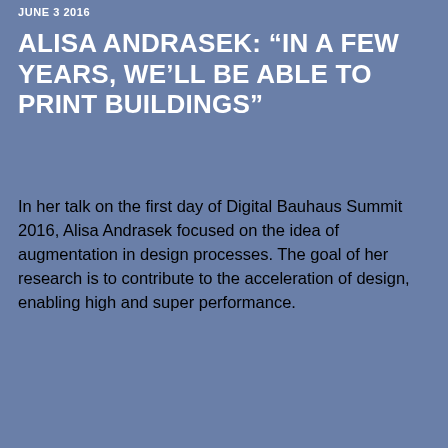JUNE 3 2016
ALISA ANDRASEK: “IN A FEW YEARS, WE’LL BE ABLE TO PRINT BUILDINGS”
In her talk on the first day of Digital Bauhaus Summit 2016, Alisa Andrasek focused on the idea of augmentation in design processes. The goal of her research is to contribute to the acceleration of design, enabling high and super performance.